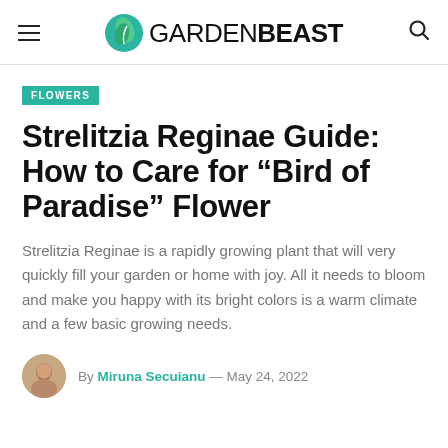GARDENBEAST
FLOWERS
Strelitzia Reginae Guide: How to Care for “Bird of Paradise” Flower
Strelitzia Reginae is a rapidly growing plant that will very quickly fill your garden or home with joy. All it needs to bloom and make you happy with its bright colors is a warm climate and a few basic growing needs.
By Miruna Secuianu — May 24, 2022